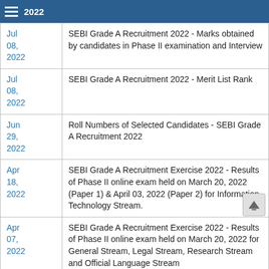2022
| Date | Description |
| --- | --- |
| Jul 08, 2022 | SEBI Grade A Recruitment 2022 - Marks obtained by candidates in Phase II examination and Interview |
| Jul 08, 2022 | SEBI Grade A Recruitment 2022 - Merit List Rank |
| Jun 29, 2022 | Roll Numbers of Selected Candidates - SEBI Grade A Recruitment 2022 |
| Apr 18, 2022 | SEBI Grade A Recruitment Exercise 2022 - Results of Phase II online exam held on March 20, 2022 (Paper 1) & April 03, 2022 (Paper 2) for Information Technology Stream. |
| Apr 07, 2022 | SEBI Grade A Recruitment Exercise 2022 - Results of Phase II online exam held on March 20, 2022 for General Stream, Legal Stream, Research Stream and Official Language Stream |